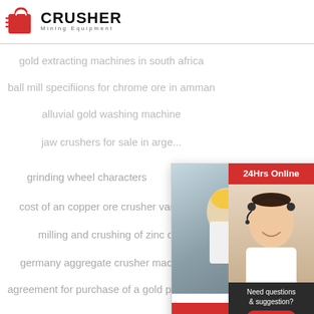[Figure (logo): Crusher Mining Equipment logo with red shopping bag icon and bold CRUSHER text]
gold extracting machines in south africa
ball mill specifiions for chrome ore in amman
alluvial gold washing machine
jaw crushers for sale in arge...
[Figure (screenshot): Live Chat popup with workers in hard hats photo, LIVE CHAT text in red italic, Click for a Free Consultation subtitle, Chat now (red) and Chat later (dark) buttons]
grinding wheel characters
cost of an copper ore crusher vancou...
milling and crushing of zinc ore
germany aggregate crusher machine...
agreement for purchase of a gold processi...
[Figure (infographic): Right sidebar with 24Hrs Online red banner, customer service rep photo, Need questions & suggestion? with Chat Now red oval button, Enquiry section, and limingjlmofen@sina.com email]